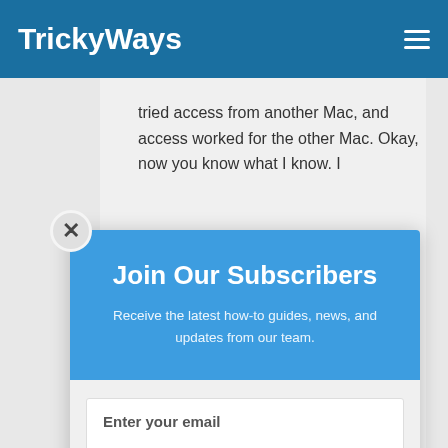TrickyWays
tried access from another Mac, and access worked for the other Mac. Okay, now you know what I know. I
Join Our Subscribers
Receive the latest how-to guides, news, and updates from our team.
Enter your email
Subscribe